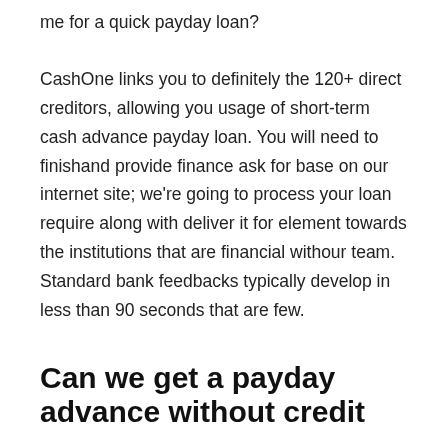me for a quick payday loan?
CashOne links you to definitely the 120+ direct creditors, allowing you usage of short-term cash advance payday loan. You will need to finishand provide finance ask for base on our internet site; we're going to process your loan require along with deliver it for element towards the institutions that are financial withour team. Standard bank feedbacks typically develop in less than 90 seconds that are few.
Can we get a payday advance without credit